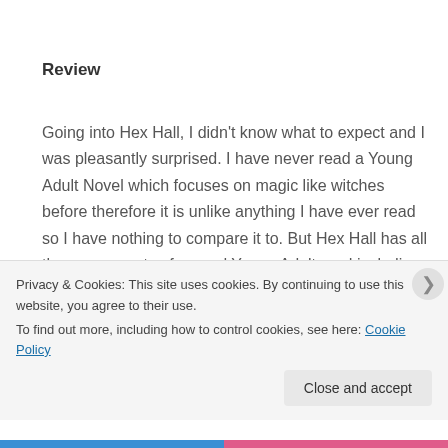Review
Going into Hex Hall, I didn't know what to expect and I was pleasantly surprised. I have never read a Young Adult Novel which focuses on magic like witches before therefore it is unlike anything I have ever read so I have nothing to compare it to. But Hex Hall has all the components of a good Young Adult read including the ever so wonderful aspect of Sophia's
Privacy & Cookies: This site uses cookies. By continuing to use this website, you agree to their use.
To find out more, including how to control cookies, see here: Cookie Policy
Close and accept